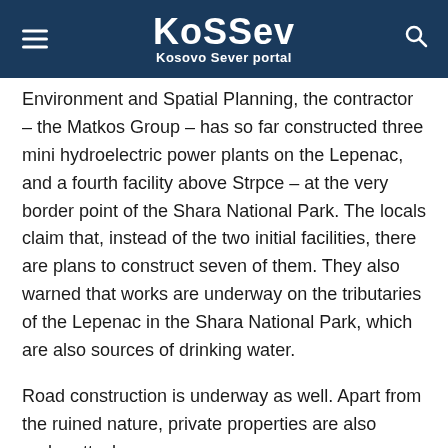KoSSev – Kosovo Sever portal
Environment and Spatial Planning, the contractor – the Matkos Group – has so far constructed three mini hydroelectric power plants on the Lepenac, and a fourth facility above Strpce – at the very border point of the Shara National Park. The locals claim that, instead of the two initial facilities, there are plans to construct seven of them. They also warned that works are underway on the tributaries of the Lepenac in the Shara National Park, which are also sources of drinking water.
Road construction is underway as well. Apart from the ruined nature, private properties are also under attack.
The Ombudsman recommended the suspension of the construction and recently opened an investigation into allegations of excessive use of force at one of the protests.